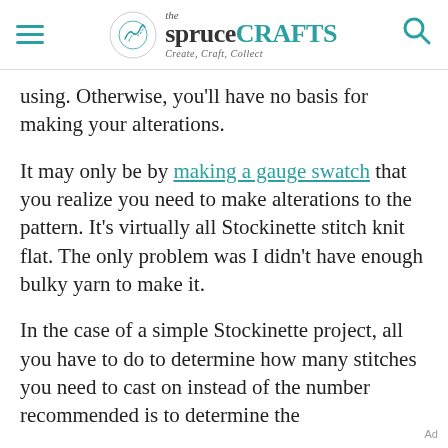the spruce CRAFTS — Create, Craft, Collect
using. Otherwise, you'll have no basis for making your alterations.
It may only be by making a gauge swatch that you realize you need to make alterations to the pattern. It's virtually all Stockinette stitch knit flat. The only problem was I didn't have enough bulky yarn to make it.
In the case of a simple Stockinette project, all you have to do to determine how many stitches you need to cast on instead of the number recommended is to determine the